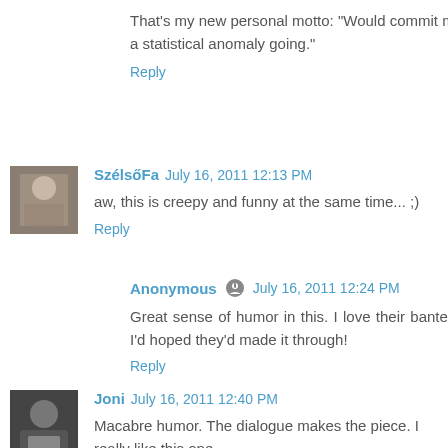That's my new personal motto: "Would commit murder just to keep a statistical anomaly going."
Reply
SzélsőFa July 16, 2011 12:13 PM
aw, this is creepy and funny at the same time... ;)
Reply
Anonymous July 16, 2011 12:24 PM
Great sense of humor in this. I love their banter. And that ending--I'd hoped they'd made it through!
Reply
Joni July 16, 2011 12:40 PM
Macabre humor. The dialogue makes the piece. I really like this one.